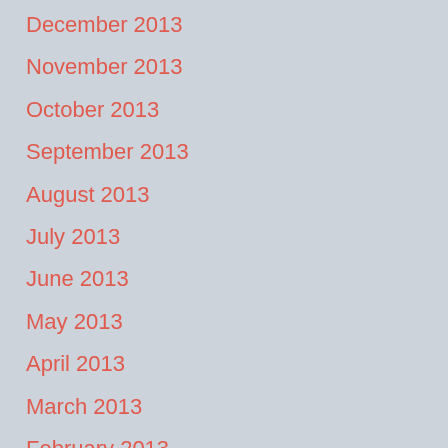December 2013
November 2013
October 2013
September 2013
August 2013
July 2013
June 2013
May 2013
April 2013
March 2013
February 2013
January 2013
November 2012